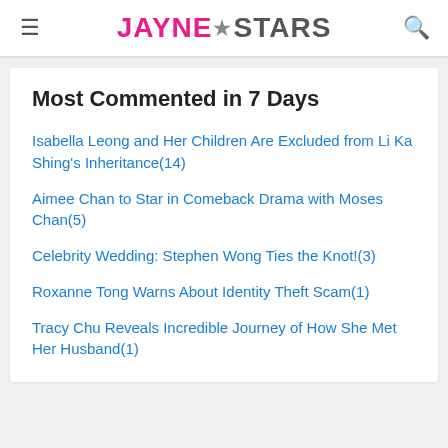JAYNE★STARS
Most Commented in 7 Days
Isabella Leong and Her Children Are Excluded from Li Ka Shing's Inheritance(14)
Aimee Chan to Star in Comeback Drama with Moses Chan(5)
Celebrity Wedding: Stephen Wong Ties the Knot!(3)
Roxanne Tong Warns About Identity Theft Scam(1)
Tracy Chu Reveals Incredible Journey of How She Met Her Husband(1)